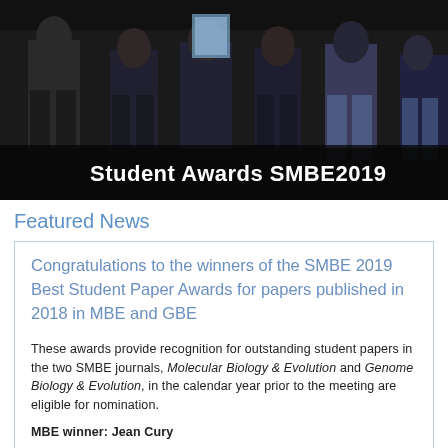[Figure (photo): Group photo of people standing on a dark stage, partially cropped at top. Banner text reads 'Student Awards SMBE2019'.]
Featured News
Congratulations to the winners of the SMBE 2019 Best Student Paper Awards for papers published in 2018 in MBE and GBE
These awards provide recognition for outstanding student papers in the two SMBE journals, Molecular Biology & Evolution and Genome Biology & Evolution, in the calendar year prior to the meeting are eligible for nomination.
MBE winner: Jean Cury
for the paper "Host Range and Genetic Plasticity Explain the